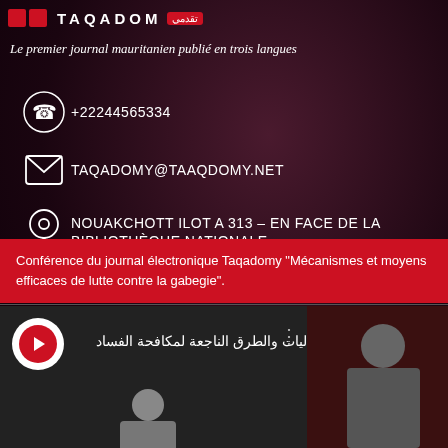[Figure (logo): Taqadomy logo with red squares and white text]
Le premier journal mauritanien publié en trois langues
+22244565334
TAQADOMY@TAAQDOMY.NET
NOUAKCHOTT ILOT A 313 – EN FACE DE LA BIBLIOTHÈQUE NATIONALE
Conférence du journal électronique Taqadomy "Mécanismes et moyens efficaces de lutte contre la gabegie".
[Figure (screenshot): Video thumbnail with Arabic text: ليات والطرق الناجعة لمكافحة الفساد with a person visible]